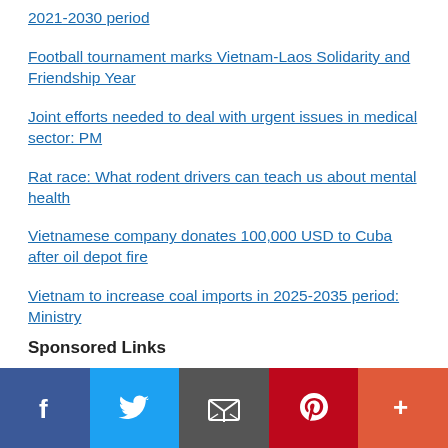2021-2030 period
Football tournament marks Vietnam-Laos Solidarity and Friendship Year
Joint efforts needed to deal with urgent issues in medical sector: PM
Rat race: What rodent drivers can teach us about mental health
Vietnamese company donates 100,000 USD to Cuba after oil depot fire
Vietnam to increase coal imports in 2025-2035 period: Ministry
Sponsored Links
Social share bar: Facebook, Twitter, Email, Pinterest, More